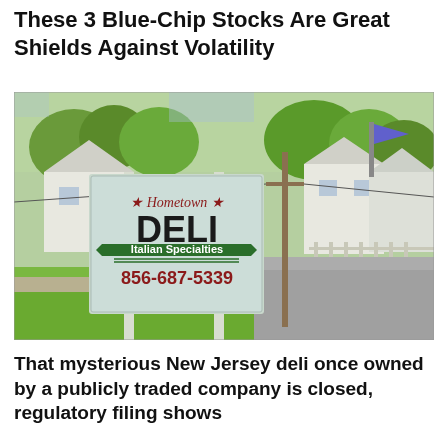These 3 Blue-Chip Stocks Are Great Shields Against Volatility
[Figure (photo): Outdoor sign for Hometown Deli reading '★ Hometown ★ DELI Italian Specialties 856-687-5339', set on a grassy lawn with suburban houses and trees visible in the background.]
That mysterious New Jersey deli once owned by a publicly traded company is closed, regulatory filing shows